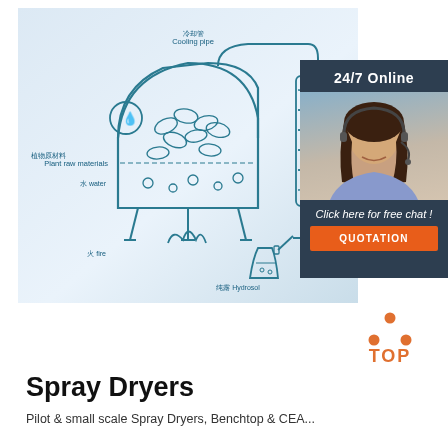[Figure (engineering-diagram): Schematic diagram of a plant distillation/hydrosol apparatus showing a heated vessel containing plant raw materials and water, connected via a cooling pipe to a spiral condenser/radiator, with output collected as hydrosol. Labels in Chinese and English: 冷却管 Cooling pipe, 散热 Radiator, 植物原材料 Plant raw materials, 水 water, 火 fire, 纯露 Hydrosol.]
[Figure (photo): Online chat support overlay showing '24/7 Online' header, photo of a smiling female customer service representative wearing a headset, text 'Click here for free chat!' and an orange 'QUOTATION' button.]
[Figure (other): Orange 'TOP' icon with three dots arranged in a triangle above the word TOP in orange.]
Spray Dryers
Pilot & small scale Spray Dryers, Benchtop & CEA...